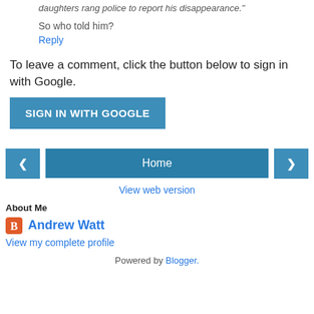daughters rang police to report his disappearance."
So who told him?
Reply
To leave a comment, click the button below to sign in with Google.
SIGN IN WITH GOOGLE
[Figure (screenshot): Navigation bar with left arrow button, Home button, and right arrow button]
View web version
About Me
Andrew Watt
View my complete profile
Powered by Blogger.